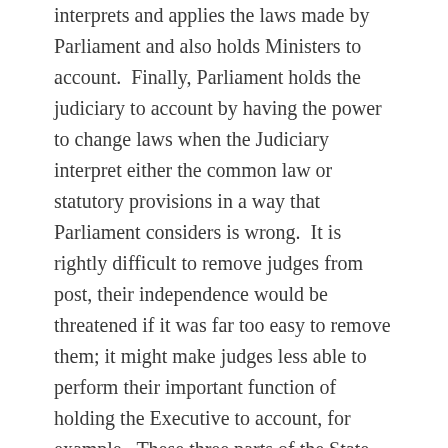interprets and applies the laws made by Parliament and also holds Ministers to account.  Finally, Parliament holds the judiciary to account by having the power to change laws when the Judiciary interpret either the common law or statutory provisions in a way that Parliament considers is wrong.  It is rightly difficult to remove judges from post, their independence would be threatened if it was far too easy to remove them; it might make judges less able to perform their important function of holding the Executive to account, for example.  These three parts of the State work together (not always harmoniously, but that is to be expected) to ensure that the State does not over exert its powers and that no part of the State becomes too powerful.
The impartiality is also of huge importance and two-fold.  Firstly, the judiciary must be politically impartial.  It is for this reason that when lawyers become judges they must